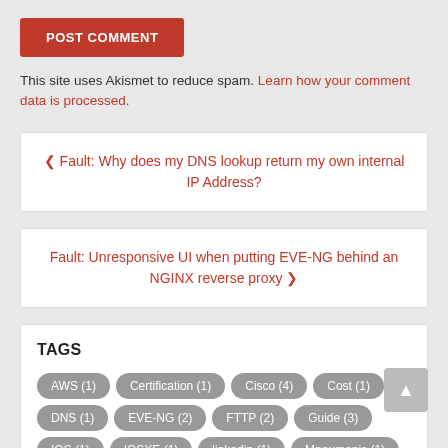POST COMMENT
This site uses Akismet to reduce spam. Learn how your comment data is processed.
< Fault: Why does my DNS lookup return my own internal IP Address?
Fault: Unresponsive UI when putting EVE-NG behind an NGINX reverse proxy >
TAGS
AWS (1)
Certification (1)
Cisco (4)
Cost (1)
DNS (1)
EVE-NG (2)
FTTP (2)
Guide (3)
IOS (1)
IOSXE (1)
linkedin (1)
Mneumonic (1)
nat (1)
Networking (6)